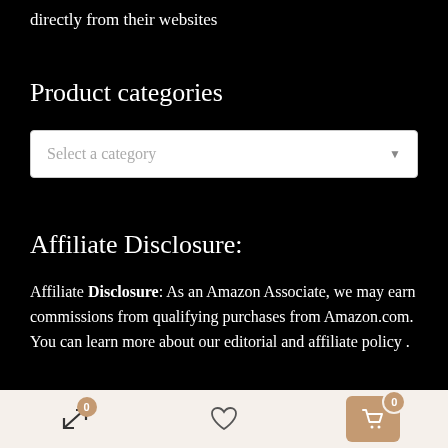directly from their websites
Product categories
[Figure (screenshot): Dropdown selector with placeholder text 'Select a category' and a down arrow on the right]
Affiliate Disclosure:
Affiliate Disclosure: As an Amazon Associate, we may earn commissions from qualifying purchases from Amazon.com. You can learn more about our editorial and affiliate policy .
Footer navigation bar with compare icon (badge 0), wishlist heart icon, and cart icon (badge 0)